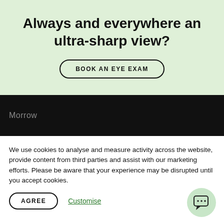Always and everywhere an ultra-sharp view?
BOOK AN EYE EXAM
Morrow
We use cookies to analyse and measure activity across the website, provide content from third parties and assist with our marketing efforts. Please be aware that your experience may be disrupted until you accept cookies.
AGREE
Customise